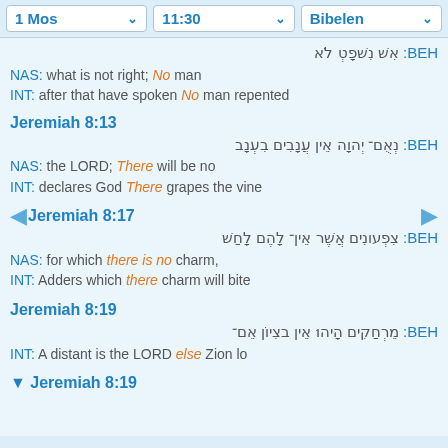1 Mos  11:30  Bibelen
HEB: [Hebrew text] NAS: what is not right; No man INT: after that have spoken No man repented
Jeremiah 8:13
HEB: [Hebrew] NAS: the LORD; There will be no INT: declares God There grapes the vine
Jeremiah 8:17
HEB: [Hebrew] NAS: for which there is no charm, INT: Adders which there charm will bite
Jeremiah 8:19
HEB: [Hebrew] INT: A distant is the LORD else Zion lo
Jeremiah 8:19